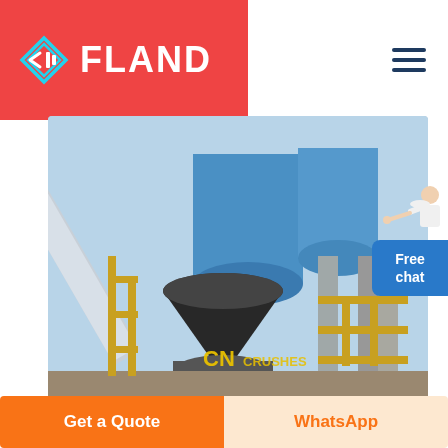[Figure (logo): FLAND company logo with red background, geometric diamond/arrow icon in cyan and white, bold white text FLAND]
[Figure (photo): Industrial stone crushing machine facility with large blue cylindrical ducts/pipes, cone crusher, yellow steel framework, concrete structure — CN CRUSHES watermark visible]
[Figure (other): Free chat button with agent photo, blue rounded rectangle, on right side of page]
Crushing Machine – Stone Crushing Machine
Get a Quote
WhatsApp